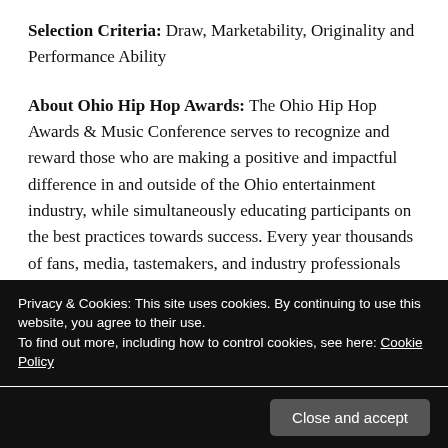Selection Criteria: Draw, Marketability, Originality and Performance Ability
About Ohio Hip Hop Awards: The Ohio Hip Hop Awards & Music Conference serves to recognize and reward those who are making a positive and impactful difference in and outside of the Ohio entertainment industry, while simultaneously educating participants on the best practices towards success. Every year thousands of fans, media, tastemakers, and industry professionals
Privacy & Cookies: This site uses cookies. By continuing to use this website, you agree to their use.
To find out more, including how to control cookies, see here: Cookie Policy
Close and accept
workshops, professional industry panels,